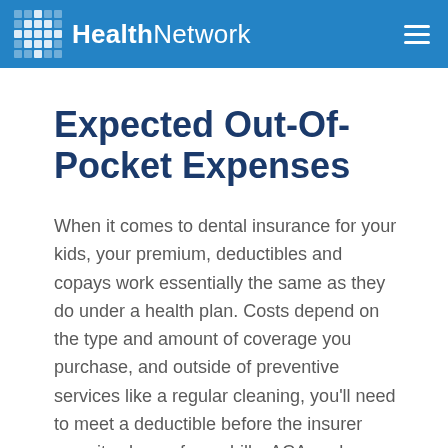HealthNetwork
Expected Out-Of-Pocket Expenses
When it comes to dental insurance for your kids, your premium, deductibles and copays work essentially the same as they do under a health plan. Costs depend on the type and amount of coverage you purchase, and outside of preventive services like a regular cleaning, you'll need to meet a deductible before the insurer pays its share of your bills. ACA exchange standalone dental plans limit out-of-